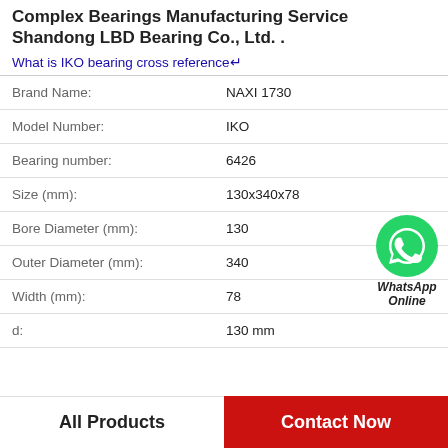Complex Bearings Manufacturing Service Shandong LBD Bearing Co., Ltd. .
What is IKO bearing cross reference↵
| Field | Value |
| --- | --- |
| Brand Name: | NAXI 1730 |
| Model Number: | IKO |
| Bearing number: | 6426 |
| Size (mm): | 130x340x78 |
| Bore Diameter (mm): | 130 |
| Outer Diameter (mm): | 340 |
| Width (mm): | 78 |
| d: | 130 mm |
[Figure (logo): WhatsApp Online green phone icon with bold italic label 'WhatsApp Online']
All Products
Contact Now